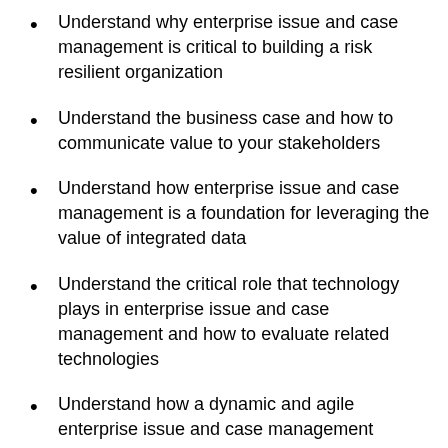Understand why enterprise issue and case management is critical to building a risk resilient organization
Understand the business case and how to communicate value to your stakeholders
Understand how enterprise issue and case management is a foundation for leveraging the value of integrated data
Understand the critical role that technology plays in enterprise issue and case management and how to evaluate related technologies
Understand how a dynamic and agile enterprise issue and case management system directly supports the interests of the Board, C-Suite and External Stakeholders